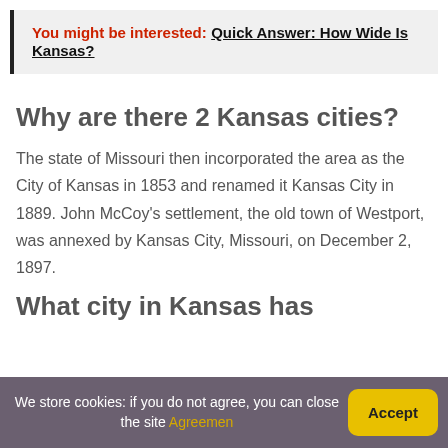You might be interested:  Quick Answer: How Wide Is Kansas?
Why are there 2 Kansas cities?
The state of Missouri then incorporated the area as the City of Kansas in 1853 and renamed it Kansas City in 1889. John McCoy’s settlement, the old town of Westport, was annexed by Kansas City, Missouri, on December 2, 1897.
What city in Kansas has
We store cookies: if you do not agree, you can close the site Agreemen